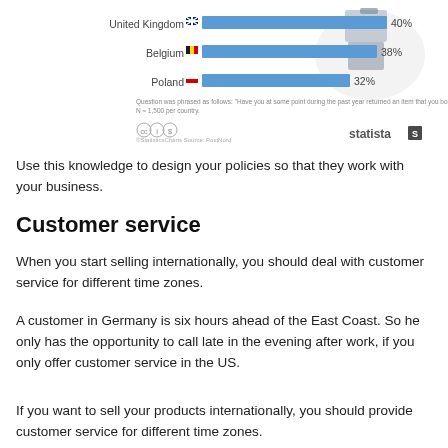[Figure (bar-chart): Returns by country]
Use this knowledge to design your policies so that they work with your business.
Customer service
When you start selling internationally, you should deal with customer service for different time zones.
A customer in Germany is six hours ahead of the East Coast. So he only has the opportunity to call late in the evening after work, if you only offer customer service in the US.
If you want to sell your products internationally, you should provide customer service for different time zones.
You can use virtual assistants to solve this problem.